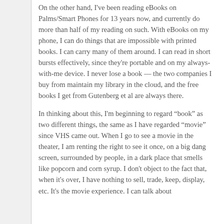On the other hand, I've been reading eBooks on Palms/Smart Phones for 13 years now, and currently do more than half of my reading on such. With eBooks on my phone, I can do things that are impossible with printed books. I can carry many of them around. I can read in short bursts effectively, since they're portable and on my always-with-me device. I never lose a book — the two companies I buy from maintain my library in the cloud, and the free books I get from Gutenberg et al are always there.
In thinking about this, I'm beginning to regard “book” as two different things, the same as I have regarded “movie” since VHS came out. When I go to see a movie in the theater, I am renting the right to see it once, on a big dang screen, surrounded by people, in a dark place that smells like popcorn and corn syrup. I don't object to the fact that, when it's over, I have nothing to sell, trade, keep, display, etc. It's the movie experience. I can talk about